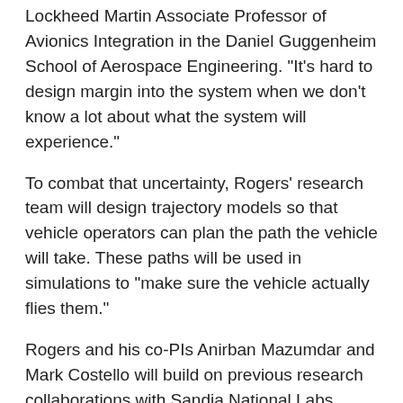Lockheed Martin Associate Professor of Avionics Integration in the Daniel Guggenheim School of Aerospace Engineering. "It's hard to design margin into the system when we don't know a lot about what the system will experience."
To combat that uncertainty, Rogers' research team will design trajectory models so that vehicle operators can plan the path the vehicle will take. These paths will be used in simulations to "make sure the vehicle actually flies them."
Rogers and his co-PIs Anirban Mazumdar and Mark Costello will build on previous research collaborations with Sandia National Labs Autonomy for Hypersonic Program, as well as collaborate with researchers at Texas A&M University.
What most excites Rogers is the prospect of Georgia